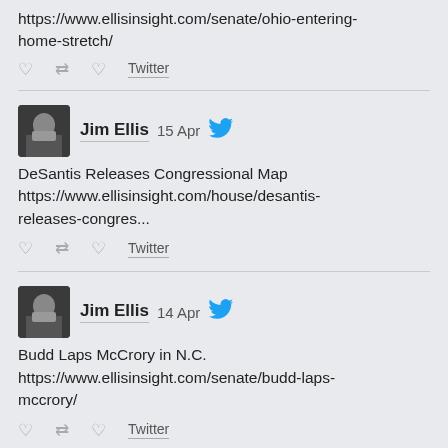https://www.ellisinsight.com/senate/ohio-entering-home-stretch/
Twitter
Jim Ellis  15 Apr
DeSantis Releases Congressional Map https://www.ellisinsight.com/house/desantis-releases-congres...
Twitter
Jim Ellis  14 Apr
Budd Laps McCrory in N.C. https://www.ellisinsight.com/senate/budd-laps-mccrory/
Twitter
Jim Ellis  13 Apr